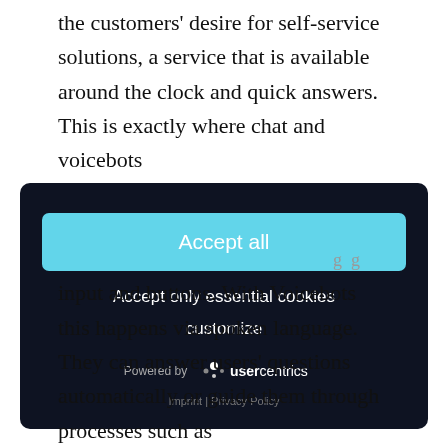the customers' desire for self-service solutions, a service that is available around the clock and quick answers. This is exactly where chat and voicebots
[Figure (screenshot): Cookie consent overlay dialog on dark background with 'Accept all' button in cyan/light blue, 'Accept only essential cookies' text link, 'customize' text link, 'Powered by usercentrics' logo, and 'Imprint | Privacy Policy' footer links.]
input and buttons. With Voicebots this happens via spoken language. They can answer users' questions automatically or guide them through processes such as